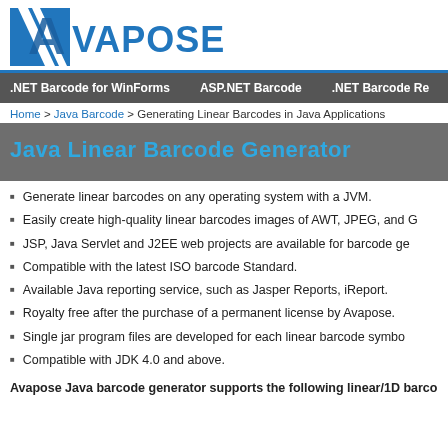[Figure (logo): Avapose logo with blue diagonal lines and blue text reading AVAPOSE]
.NET Barcode for WinForms   ASP.NET Barcode   .NET Barcode Re
Home > Java Barcode > Generating Linear Barcodes in Java Applications
Java Linear Barcode Generator
Generate linear barcodes on any operating system with a JVM.
Easily create high-quality linear barcodes images of AWT, JPEG, and G
JSP, Java Servlet and J2EE web projects are available for barcode ge
Compatible with the latest ISO barcode Standard.
Available Java reporting service, such as Jasper Reports, iReport.
Royalty free after the purchase of a permanent license by Avapose.
Single jar program files are developed for each linear barcode symbo
Compatible with JDK 4.0 and above.
Avapose Java barcode generator supports the following linear/1D barco